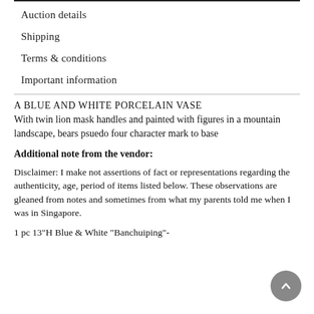Auction details
Shipping
Terms & conditions
Important information
A BLUE AND WHITE PORCELAIN VASE
With twin lion mask handles and painted with figures in a mountain landscape, bears psuedo four character mark to base
Additional note from the vendor:
Disclaimer: I make not assertions of fact or representations regarding the authenticity, age, period of items listed below. These observations are gleaned from notes and sometimes from what my parents told me when I was in Singapore.
1 pc 13"H Blue & White "Banchuiping"-